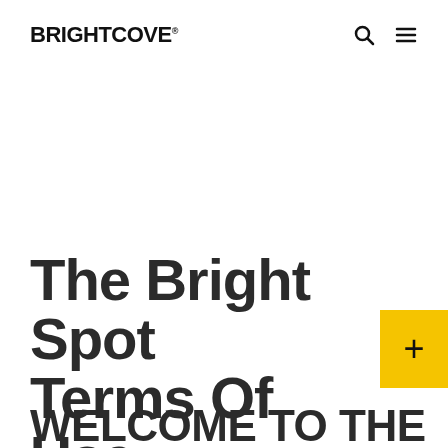BRIGHTCOVE®
The Bright Spot Terms Of Use
WELCOME TO THE